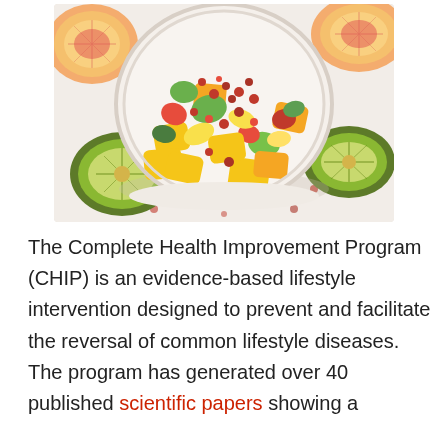[Figure (photo): Overhead photo of a white bowl filled with colorful mixed fruit salad including mango, kiwi, banana, strawberries, pomegranate seeds, and avocado. Surrounding the bowl are sliced grapefruit, halved kiwis, and scattered pomegranate seeds on a white background.]
The Complete Health Improvement Program (CHIP) is an evidence-based lifestyle intervention designed to prevent and facilitate the reversal of common lifestyle diseases. The program has generated over 40 published scientific papers showing a